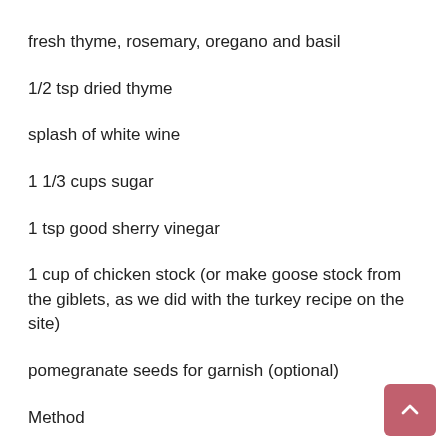fresh thyme, rosemary, oregano and basil
1/2 tsp dried thyme
splash of white wine
1 1/3 cups sugar
1 tsp good sherry vinegar
1 cup of chicken stock (or make goose stock from the giblets, as we did with the turkey recipe on the site)
pomegranate seeds for garnish (optional)
Method
Take the giblets out of the goose. Rinse the bird thoroughly. Pat it dry with paper towels. In a large, heavy roasting pan safe for the stovetop, place the carrots and 2 shallots, cut into big chunks. Place 2